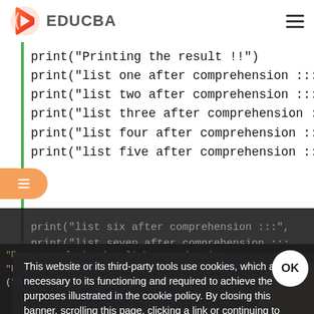[Figure (logo): EDUCBA logo with red/orange play button icon and EDUCBA text]
[Figure (screenshot): Python code snippet showing print statements for list comprehension results]
This website or its third-party tools use cookies, which are necessary to its functioning and required to achieve the purposes illustrated in the cookie policy. By closing this banner, scrolling this page, clicking a link or continuing to browse otherwise, you agree to our Privacy Policy